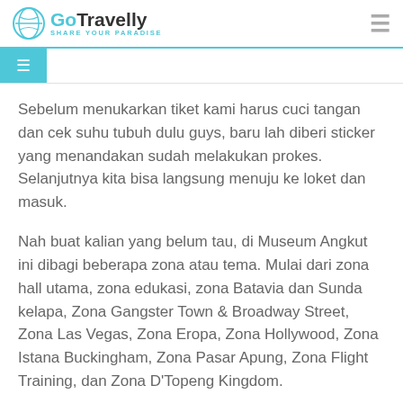GoTravelly SHARE YOUR PARADISE
Sebelum menukarkan tiket kami harus cuci tangan dan cek suhu tubuh dulu guys, baru lah diberi sticker yang menandakan sudah melakukan prokes. Selanjutnya kita bisa langsung menuju ke loket dan masuk.
Nah buat kalian yang belum tau, di Museum Angkut ini dibagi beberapa zona atau tema. Mulai dari zona hall utama, zona edukasi, zona Batavia dan Sunda kelapa, Zona Gangster Town & Broadway Street, Zona Las Vegas, Zona Eropa, Zona Hollywood, Zona Istana Buckingham, Zona Pasar Apung, Zona Flight Training, dan Zona D'Topeng Kingdom.